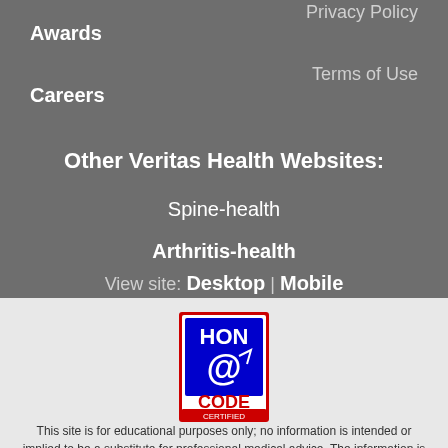Awards
Privacy Policy
Careers
Terms of Use
Other Veritas Health Websites:
Spine-health
Arthritis-health
View site: Desktop | Mobile
[Figure (logo): HON CODE CERTIFIED 03/2020 badge - red, blue and white certification seal]
This site is for educational purposes only; no information is intended or implied to be a substitute for professional medical advice. The information is produced and reviewed by over 200 medical professionals with the goal of providing trusted,